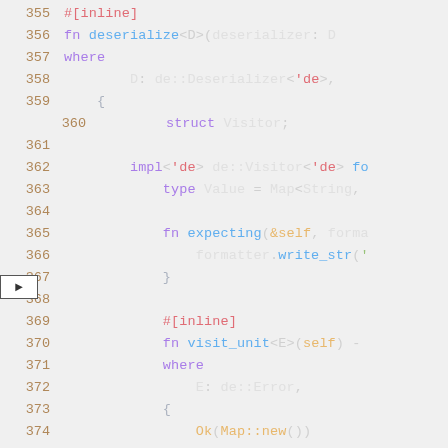[Figure (screenshot): Source code screenshot showing Rust code lines 355-374, implementing a Deserialize trait with a Visitor struct, on a light gray background with syntax highlighting. Line 360 has an arrow button on the left margin.]